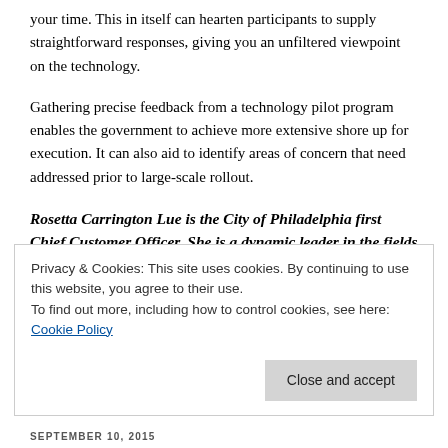your time. This in itself can hearten participants to supply straightforward responses, giving you an unfiltered viewpoint on the technology.
Gathering precise feedback from a technology pilot program enables the government to achieve more extensive shore up for execution. It can also aid to identify areas of concern that need addressed prior to large-scale rollout.
Rosetta Carrington Lue is the City of Philadelphia first Chief Customer Officer. She is a dynamic leader in the fields of Customer Experience Management.
Privacy & Cookies: This site uses cookies. By continuing to use this website, you agree to their use.
To find out more, including how to control cookies, see here: Cookie Policy
SEPTEMBER 10, 2015